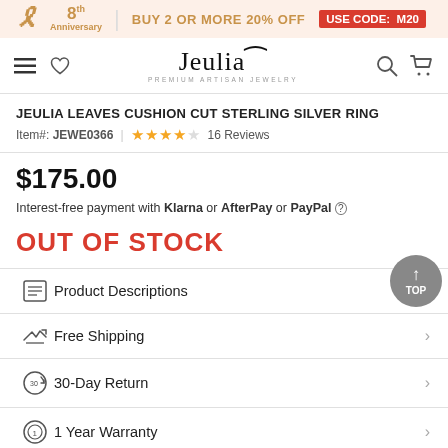8th Anniversary | BUY 2 OR MORE 20% OFF USE CODE: M20
Jeulia PREMIUM ARTISAN JEWELRY
JEULIA LEAVES CUSHION CUT STERLING SILVER RING
Item#: JEWE0366 | ★★★★☆ 16 Reviews
$175.00
Interest-free payment with Klarna or AfterPay or PayPal ⓘ
OUT OF STOCK
Product Descriptions
Free Shipping
30-Day Return
1 Year Warranty